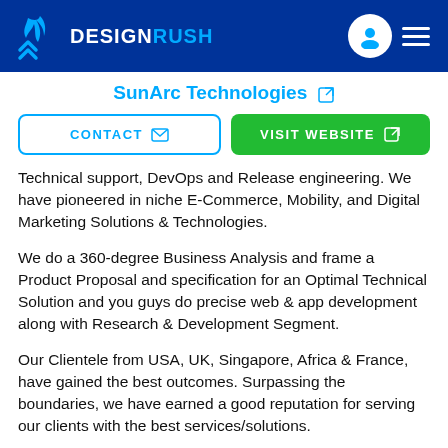DESIGNRUSH
SunArc Technologies
CONTACT   VISIT WEBSITE
Technical support, DevOps and Release engineering. We have pioneered in niche E-Commerce, Mobility, and Digital Marketing Solutions & Technologies.
We do a 360-degree Business Analysis and frame a Product Proposal and specification for an Optimal Technical Solution and you guys do precise web & app development along with Research & Development Segment.
Our Clientele from USA, UK, Singapore, Africa & France, have gained the best outcomes. Surpassing the boundaries, we have earned a good reputation for serving our clients with the best services/solutions.